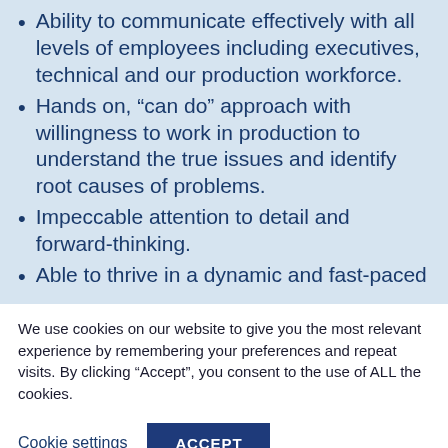Ability to communicate effectively with all levels of employees including executives, technical and our production workforce.
Hands on, “can do” approach with willingness to work in production to understand the true issues and identify root causes of problems.
Impeccable attention to detail and forward-thinking.
Able to thrive in a dynamic and fast-paced
We use cookies on our website to give you the most relevant experience by remembering your preferences and repeat visits. By clicking “Accept”, you consent to the use of ALL the cookies.
Cookie settings  ACCEPT